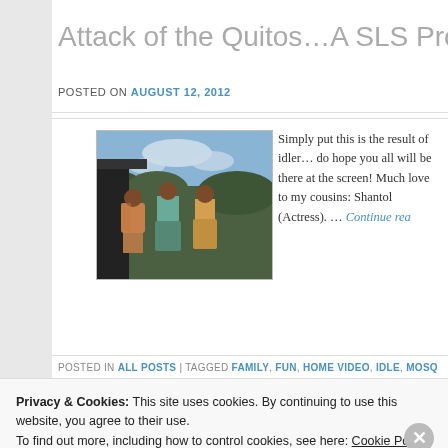Attack of the Quitos…A SLS Produc
POSTED ON AUGUST 12, 2012
[Figure (photo): Three people standing outdoors on a hillside with sky and vegetation in the background]
Simply put this is the result of idler… do hope you all will be there at the screen! Much love to my cousins: Shantol (Actress). … Continue rea
POSTED IN ALL POSTS | TAGGED FAMILY, FUN, HOME VIDEO, IDLE, MOSQ
Privacy & Cookies: This site uses cookies. By continuing to use this website, you agree to their use.
To find out more, including how to control cookies, see here: Cookie Policy
Close and accept